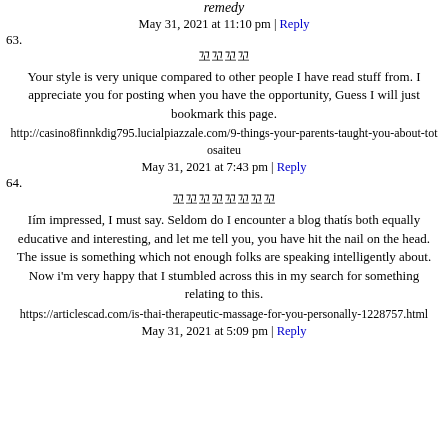remedy
May 31, 2021 at 11:10 pm | Reply
63. 꼬꼬꼬꼬
Your style is very unique compared to other people I have read stuff from. I appreciate you for posting when you have the opportunity, Guess I will just bookmark this page.
http://casino8finnkdig795.lucialpiazzale.com/9-things-your-parents-taught-you-about-totosaiteu
May 31, 2021 at 7:43 pm | Reply
64. 꼬꼬꼬꼬꼬꼬꼬꼬
Iím impressed, I must say. Seldom do I encounter a blog thatís both equally educative and interesting, and let me tell you, you have hit the nail on the head. The issue is something which not enough folks are speaking intelligently about. Now i'm very happy that I stumbled across this in my search for something relating to this.
https://articlescad.com/is-thai-therapeutic-massage-for-you-personally-1228757.html
May 31, 2021 at 5:09 pm | Reply